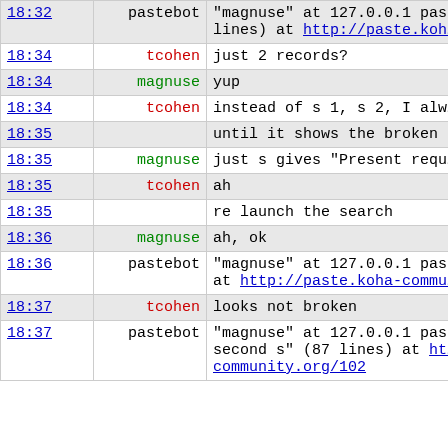| time | user | message |
| --- | --- | --- |
| 18:32 | pastebot | "magnuse" at 127.0.0.1 pas… lines) at http://paste.koh… |
| 18:34 | tcohen | just 2 records? |
| 18:34 | magnuse | yup |
| 18:34 | tcohen | instead of s 1, s 2, I alw… |
| 18:35 |  | until it shows the broken |
| 18:35 | magnuse | just s gives "Present requ… |
| 18:35 | tcohen | ah |
| 18:35 |  | re launch the search |
| 18:36 | magnuse | ah, ok |
| 18:36 | pastebot | "magnuse" at 127.0.0.1 pas… at http://paste.koha-commu… |
| 18:37 | tcohen | looks not broken |
| 18:37 | pastebot | "magnuse" at 127.0.0.1 pas… second s" (87 lines) at ht… community.org/102 |